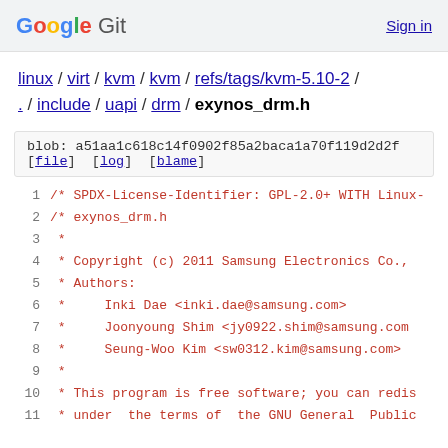Google Git   Sign in
linux / virt / kvm / kvm / refs/tags/kvm-5.10-2 / . / include / uapi / drm / exynos_drm.h
blob: a51aa1c618c14f0902f85a2baca1a70f119d2d2f
[file] [log] [blame]
1   /* SPDX-License-Identifier: GPL-2.0+ WITH Linux-
2   /* exynos_drm.h
3    *
4    * Copyright (c) 2011 Samsung Electronics Co.,
5    * Authors:
6    *     Inki Dae <inki.dae@samsung.com>
7    *     Joonyoung Shim <jy0922.shim@samsung.com
8    *     Seung-Woo Kim <sw0312.kim@samsung.com>
9    *
10   * This program is free software; you can redis
11   * under  the terms of  the GNU General  Public